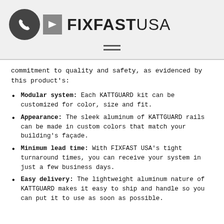[Figure (logo): FixFast USA logo with phone icon circle, arrow box, and brand name FIXFAST USA in bold sans-serif, plus hamburger menu icon below]
commitment to quality and safety, as evidenced by this product's:
Modular system: Each KATTGUARD kit can be customized for color, size and fit.
Appearance: The sleek aluminum of KATTGUARD rails can be made in custom colors that match your building's façade.
Minimum lead time: With FIXFAST USA's tight turnaround times, you can receive your system in just a few business days.
Easy delivery: The lightweight aluminum nature of KATTGUARD makes it easy to ship and handle so you can put it to use as soon as possible.